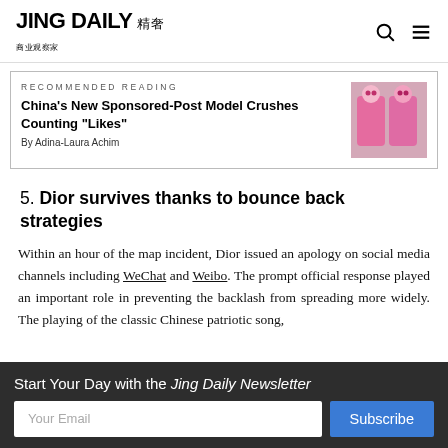JING DAILY 精奢
RECOMMENDED READING
China's New Sponsored-Post Model Crushes Counting "Likes"
By Adina-Laura Achim
5. Dior survives thanks to bounce back strategies
Within an hour of the map incident, Dior issued an apology on social media channels including WeChat and Weibo. The prompt official response played an important role in preventing the backlash from spreading more widely. The playing of the classic Chinese patriotic song,
Start Your Day with the Jing Daily Newsletter